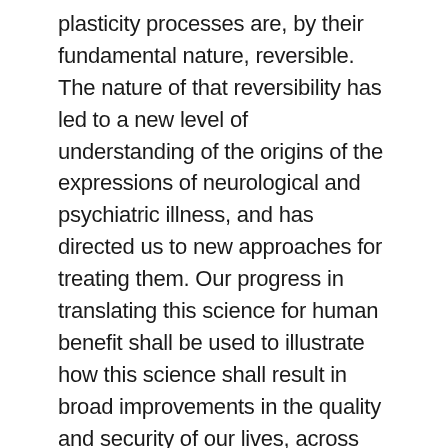plasticity processes are, by their fundamental nature, reversible. The nature of that reversibility has led to a new level of understanding of the origins of the expressions of neurological and psychiatric illness, and has directed us to new approaches for treating them. Our progress in translating this science for human benefit shall be used to illustrate how this science shall result in broad improvements in the quality and security of our lives, across extended human lifetimes.
Carla Shatz: Saving the Synapse: from developmental critical periods to Alzheimer s disease | Top